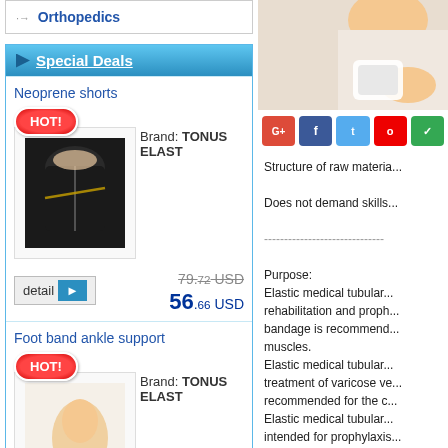Orthopedics
Special Deals
Neoprene shorts
Brand: TONUS ELAST
79.72 USD (strikethrough), 56.66 USD
Foot band ankle support
Brand: TONUS ELAST
17.65 USD (strikethrough)
[Figure (photo): Photo of person with bandaged ankle/leg in top right corner]
Structure of raw materia...
Does not demand skills...
----------------------------
Purpose:
Elastic medical tubular... rehabilitation and proph... bandage is recommend... muscles.
Elastic medical tubular... treatment of varicose ve... recommended for the c...
Elastic medical tubular... intended for prophylaxis... recommended for restr...
Elastic medical tubular... intended for prophylaxis...
Elastic medical tubular... intended for elastic fixa...
The bandages are reco... well as for keeping joist...